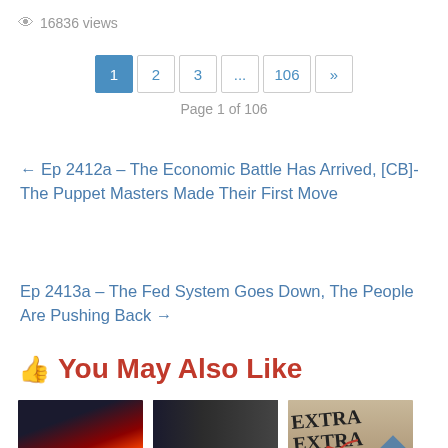👁 16836 views
[Figure (screenshot): Pagination controls showing pages 1, 2, 3, ..., 106 with >> button. Page 1 is highlighted in blue. Below reads 'Page 1 of 106'.]
← Ep 2412a – The Economic Battle Has Arrived, [CB]-The Puppet Masters Made Their First Move
Ep 2413a – The Fed System Goes Down, The People Are Pushing Back →
👍 You May Also Like
[Figure (photo): Thumbnail showing X22 Report logo over volcanic eruption image]
[Figure (photo): Thumbnail showing X22 Report logo over image of Donald Trump]
[Figure (photo): Thumbnail showing EXTRA newspaper headlines with red line chart and blue diamond watermark]